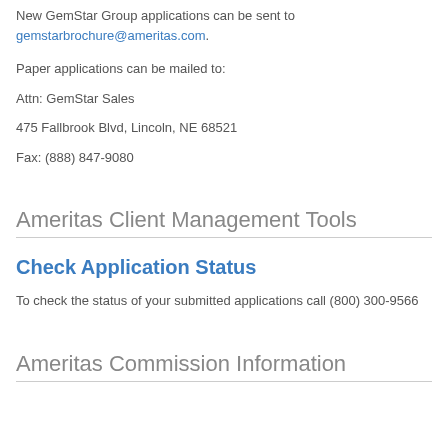New GemStar Group applications can be sent to gemstarbrochure@ameritas.com.
Paper applications can be mailed to:
Attn: GemStar Sales
475 Fallbrook Blvd, Lincoln, NE 68521
Fax: (888) 847-9080
Ameritas Client Management Tools
Check Application Status
To check the status of your submitted applications call (800) 300-9566
Ameritas Commission Information